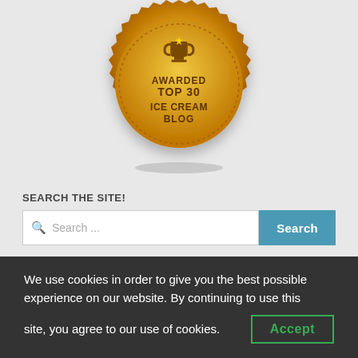[Figure (illustration): Gold badge/seal with trophy icon at top, text reading AWARDED TOP 30 ICE CREAM BLOG in the center, decorative scalloped border around the circular seal, with a subtle shadow beneath.]
SEARCH THE SITE!
Search ...
WELCOME TO THE WORLD OF ICE CREAM!
We use cookies in order to give you the best possible experience on our website. By continuing to use this site, you agree to our use of cookies.